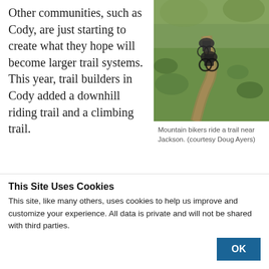Other communities, such as Cody, are just starting to create what they hope will become larger trail systems. This year, trail builders in Cody added a downhill riding trail and a climbing trail. There are plans for a mountain bike park in town, Gallagher said.
[Figure (photo): Mountain bikers riding a dirt trail through green grassy terrain, viewed from behind]
Mountain bikers ride a trail near Jackson. (courtesy Doug Ayers)
This Site Uses Cookies
This site, like many others, uses cookies to help us improve and customize your experience. All data is private and will not be shared with third parties.